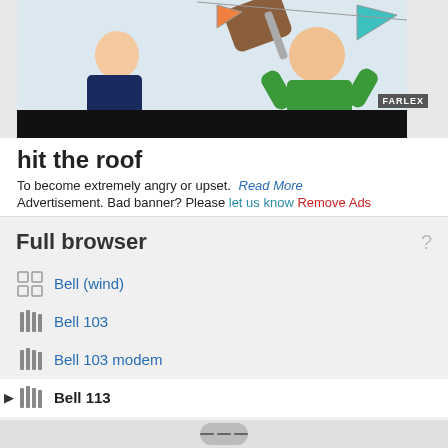[Figure (illustration): Cartoon illustration showing two people: one person on left in dark shirt with pencil/stylus, and another bald person in green shirt looking distressed, with a hand reaching in, on a colored background. A Farlex logo watermark appears at bottom right of the image.]
hit the roof
To become extremely angry or upset.  Read More
Advertisement. Bad banner? Please let us know Remove Ads
Full browser
Bell (wind)
Bell 103
Bell 103 modem
Bell 113
Bell 201
Bell 202